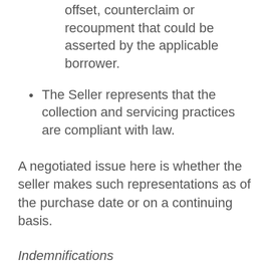offset, counterclaim or recoupment that could be asserted by the applicable borrower.
The Seller represents that the collection and servicing practices are compliant with law.
A negotiated issue here is whether the seller makes such representations as of the purchase date or on a continuing basis.
Indemnifications
Indemnifications are also highly negotiated between the originating platform and Buyer. Seller's generally